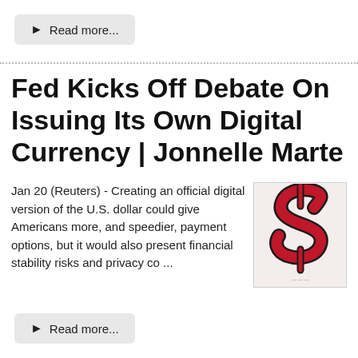Read more...
Fed Kicks Off Debate On Issuing Its Own Digital Currency | Jonnelle Marte
Jan 20 (Reuters) - Creating an official digital version of the U.S. dollar could give Americans more, and speedier, payment options, but it would also present financial stability risks and privacy co ...
[Figure (illustration): Red dollar sign symbol illustration with black outline on white background]
Read more...